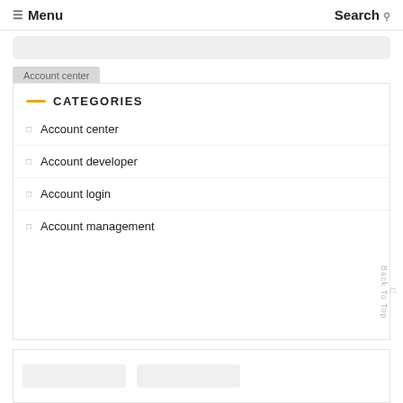Menu  Search
[Figure (screenshot): Search bar area - grey rounded rectangle]
Account center
August 23, 2022 —Lindsey G. Atkinson
Family Promise Receives $1 Million for Child Care Learning Center | State
CATEGORIES
Account center
Account developer
Account login
Account management